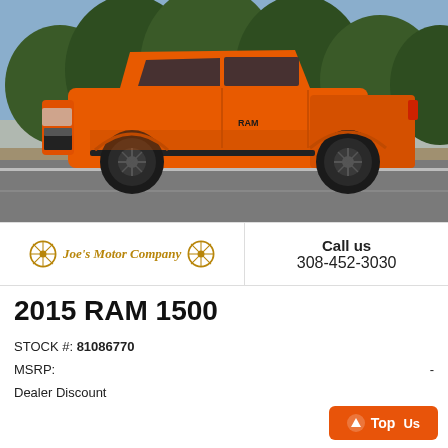[Figure (photo): Side view of a bright orange 2015 RAM 1500 pickup truck on a road with trees in background]
[Figure (logo): Joe's Motor Company logo with wagon wheel icons on each side of the text]
Call us
308-452-3030
2015 RAM 1500
STOCK #: 81086770
MSRP:                                                        -
Dealer Discount